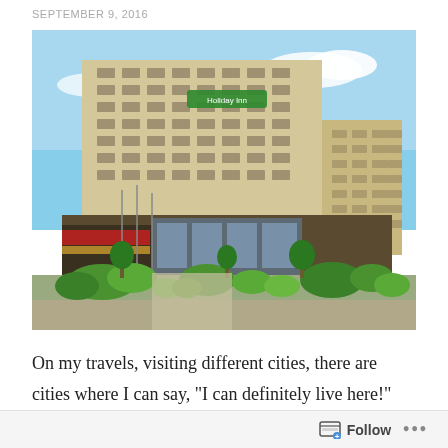SEPTEMBER 9, 2016
[Figure (photo): Exterior photograph of a large Holiday Inn hotel building with multiple floors, a modern facade with many windows, surrounded by landscaped gardens and trees in the foreground, blue sky in the background.]
On my travels, visiting different cities, there are cities where I can say, "I can definitely live here!" and cities
Follow ...